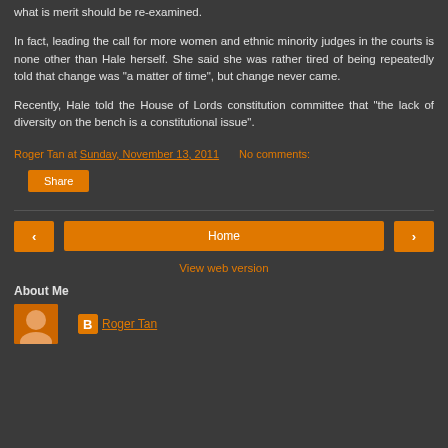what is merit should be re-examined.
In fact, leading the call for more women and ethnic minority judges in the courts is none other than Hale herself. She said she was rather tired of being repeatedly told that change was “a matter of time”, but change never came.
Recently, Hale told the House of Lords constitution committee that “the lack of diversity on the bench is a constitutional issue”.
Roger Tan at Sunday, November 13, 2011   No comments:
Share
Home
View web version
About Me
Roger Tan